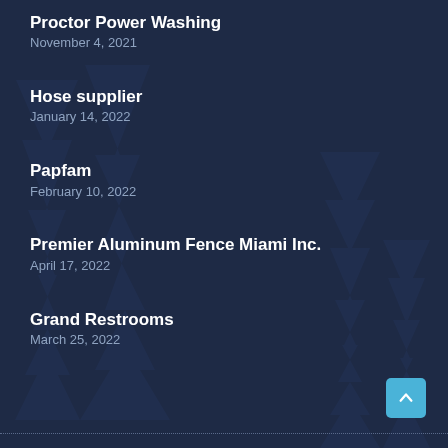Proctor Power Washing
November 4, 2021
Hose supplier
January 14, 2022
Papfam
February 10, 2022
Premier Aluminum Fence Miami Inc.
April 17, 2022
Grand Restrooms
March 25, 2022